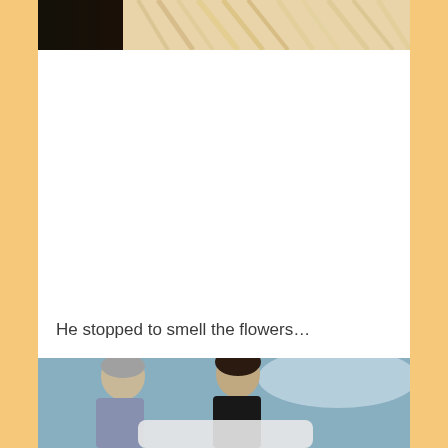[Figure (photo): Partial view of a person in white with black background, appears to be a performance or dance photo, cropped at top]
He stopped to smell the flowers…
[Figure (photo): Two women standing, one older with grey hair and one younger with dark hair, in front of a blue/teal background, with a white figure in the foreground]